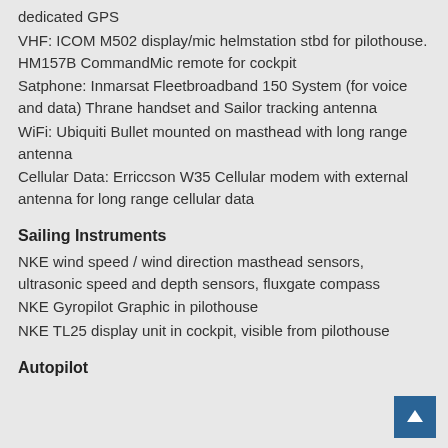dedicated GPS
VHF: ICOM M502 display/mic helmstation stbd for pilothouse. HM157B CommandMic remote for cockpit
Satphone: Inmarsat Fleetbroadband 150 System (for voice and data) Thrane handset and Sailor tracking antenna
WiFi: Ubiquiti Bullet mounted on masthead with long range antenna
Cellular Data: Erriccson W35 Cellular modem with external antenna for long range cellular data
Sailing Instruments
NKE wind speed / wind direction masthead sensors, ultrasonic speed and depth sensors, fluxgate compass
NKE Gyropilot Graphic in pilothouse
NKE TL25 display unit in cockpit, visible from pilothouse
Autopilot